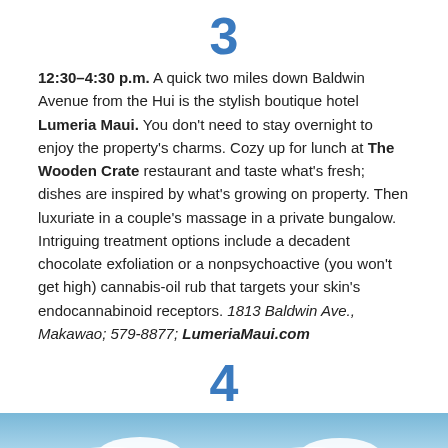3
12:30–4:30 p.m. A quick two miles down Baldwin Avenue from the Hui is the stylish boutique hotel Lumeria Maui. You don't need to stay overnight to enjoy the property's charms. Cozy up for lunch at The Wooden Crate restaurant and taste what's fresh; dishes are inspired by what's growing on property. Then luxuriate in a couple's massage in a private bungalow. Intriguing treatment options include a decadent chocolate exfoliation or a nonpsychoactive (you won't get high) cannabis-oil rub that targets your skin's endocannabinoid receptors. 1813 Baldwin Ave., Makawao; 579-8877; LumeriaMaui.com
4
[Figure (photo): Blue sky with white clouds, partial view of a landscape scene]